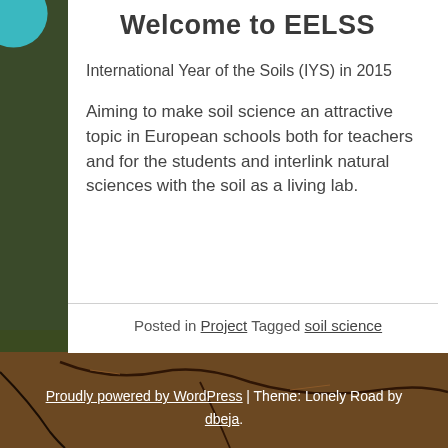Welcome to EELSS
International Year of the Soils (IYS) in 2015
Aiming to make soil science an attractive topic in European schools both for teachers and for the students and interlink natural sciences with the soil as a living lab.
Posted in Project Tagged soil science
[Figure (photo): Background photo of cracked dry soil/earth texture with some small plants/grass visible]
Proudly powered by WordPress | Theme: Lonely Road by dbeja.